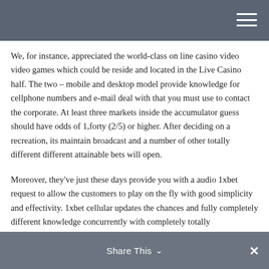We, for instance, appreciated the world-class on line casino video video games which could be reside and located in the Live Casino half. The two – mobile and desktop model provide knowledge for cellphone numbers and e-mail deal with that you must use to contact the corporate. At least three markets inside the accumulator guess should have odds of 1,forty (2/5) or higher. After deciding on a recreation, its maintain broadcast and a number of other totally different different attainable bets will open.
Moreover, they've just these days provide you with a audio 1xbet request to allow the customers to play on the fly with good simplicity and effectivity. 1xbet cellular updates the chances and fully completely different knowledge concurrently with completely totally
Share This